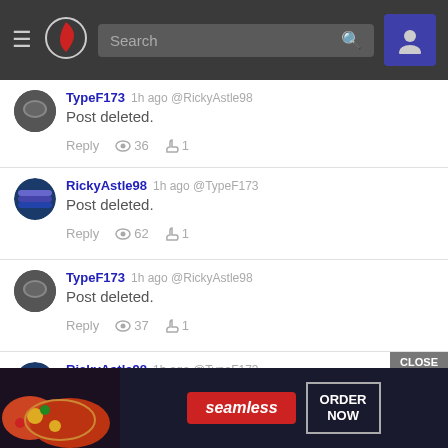Search bar with hamburger menu, logo, and user icon
TypeF173  1h ago @RickyAstle98
Post deleted.
Reply  👁 36  👍 1
RickyAstle98  1h ago @TypeF173
Post deleted.
Reply  👁 62  👍 1
TypeF173  1h ago @RickyAstle98
Post deleted.
Reply  👁 37  👍 1
RickyAstle98  1h ago @TypeF173
Post deleted.
[Figure (other): Seamless food delivery advertisement with pizza image, Seamless logo in red, and ORDER NOW button. CLOSE button overlay.]